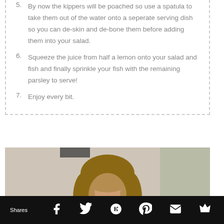5. By now the kippers will be poached so use a spatula to take them out of the water onto a seperate serving dish so you can de-skin and de-bone them before adding them into your salad.
6. Squeeze the juice from half a lemon onto your salad and fish and finally sprinkle your fish with the remaining parsley to serve!
7. Enjoy every bit.
[Figure (photo): Portrait photo of a young woman with long brown hair, smiling, against a light background with a plant visible.]
Shares  [Facebook] [Twitter] [Google+] [Pinterest] [Email] [Crown/Bloglovin]